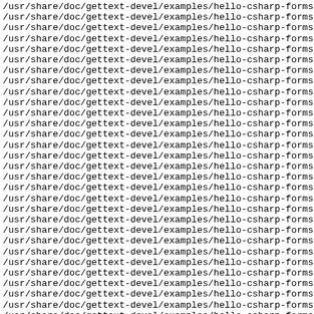/usr/share/doc/gettext-devel/examples/hello-csharp-forms/ (repeated 30 times, truncated on right)